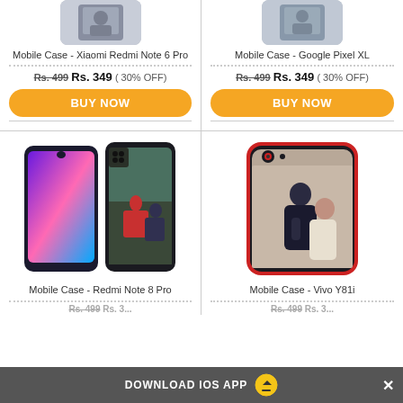[Figure (photo): Mobile Case - Xiaomi Redmi Note 6 Pro product image (partial, top cropped)]
Mobile Case - Xiaomi Redmi Note 6 Pro
Rs. 499 Rs. 349 ( 30% OFF)
BUY NOW
[Figure (photo): Mobile Case - Google Pixel XL product image (partial, top cropped)]
Mobile Case - Google Pixel XL
Rs. 499 Rs. 349 ( 30% OFF)
BUY NOW
[Figure (photo): Mobile Case - Redmi Note 8 Pro product image showing two phones with custom cases]
Mobile Case - Redmi Note 8 Pro
[Figure (photo): Mobile Case - Vivo Y81i product image showing phone case with couple photo]
Mobile Case - Vivo Y81i
DOWNLOAD IOS APP